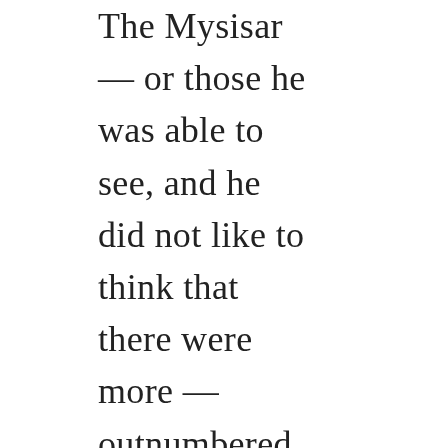The Mysisan — or those he was able to see, and he did not like to think that there were more — outnumbered the patrol nearly two to one.

Simenon pressed his fist to his